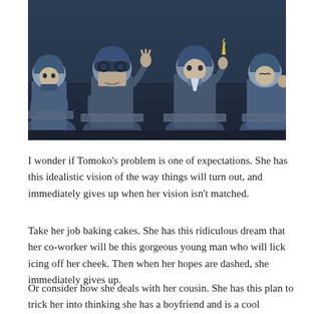[Figure (illustration): Anime-style illustration showing four robot or armored figures seated at desks, rendered in blue-gray tones. The central figure wears a helmet with goggles. They appear to be in a classroom or exam setting.]
I wonder if Tomoko's problem is one of expectations. She has this idealistic vision of the way things will turn out, and immediately gives up when her vision isn't matched.
Take her job baking cakes. She has this ridiculous dream that her co-worker will be this gorgeous young man who will lick icing off her cheek. Then when her hopes are dashed, she immediately gives up.
Or consider how she deals with her cousin. She has this plan to trick her into thinking she has a boyfriend and is a cool